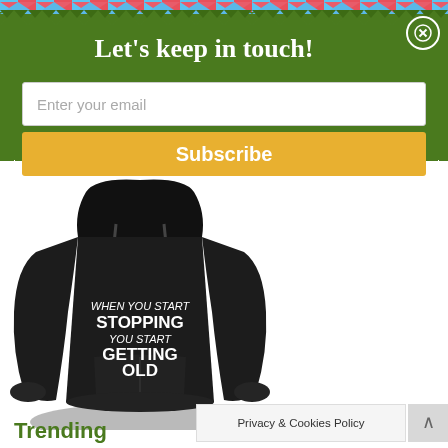Let's keep in touch!
Enter your email
Subscribe
[Figure (photo): Black hoodie sweatshirt with white text reading: WHEN YOU START STOPPING YOU START GETTING OLD]
Trending
Privacy & Cookies Policy